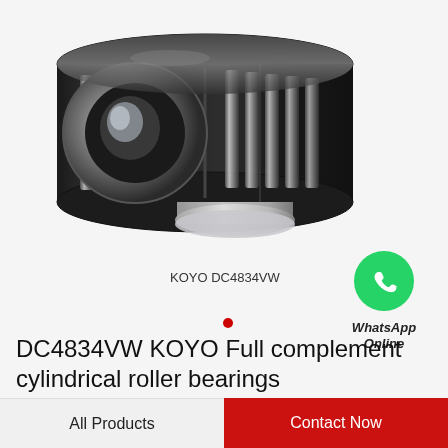[Figure (photo): KOYO DC4834VW full complement cylindrical roller bearing, dark metallic multi-row bearing shown in 3D perspective view. Label text KOYO DC4834VW below the bearing image.]
[Figure (logo): WhatsApp green circle logo icon with phone handset silhouette in white, labeled 'WhatsApp Online' in italic bold text below.]
KOYO DC4834VW
DC4834VW KOYO Full complement cylindrical roller bearings
All Products
Contact Now